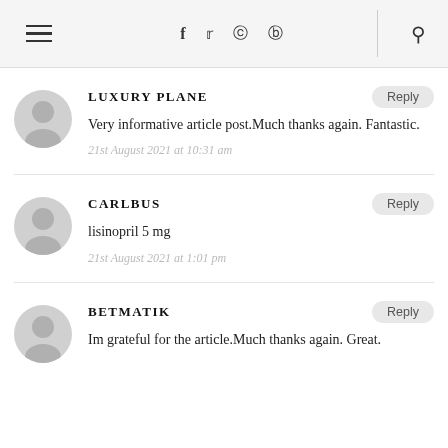≡   f  𝕏  ⊡  ⊕   🔍
LUXURY PLANE
Very informative article post.Much thanks again. Fantastic.
21st August 2021 at 10:31 am
CARLBUS
lisinopril 5 mg
21st August 2021 at 1:01 pm
BETMATIK
Im grateful for the article.Much thanks again. Great.